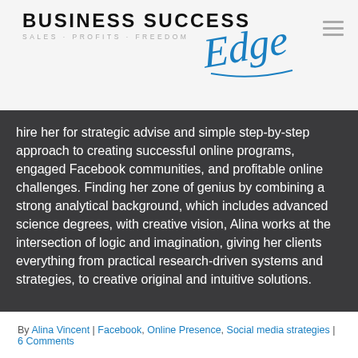[Figure (logo): Business Success Edge logo with 'BUSINESS SUCCESS' in bold uppercase black letters, 'SALES · PROFITS · FREEDOM' tagline in grey, and 'Edge' in blue italic script font]
hire her for strategic advise and simple step-by-step approach to creating successful online programs, engaged Facebook communities, and profitable online challenges. Finding her zone of genius by combining a strong analytical background, which includes advanced science degrees, with creative vision, Alina works at the intersection of logic and imagination, giving her clients everything from practical research-driven systems and strategies, to creative original and intuitive solutions.
By Alina Vincent | Facebook, Online Presence, Social media strategies | 6 Comments